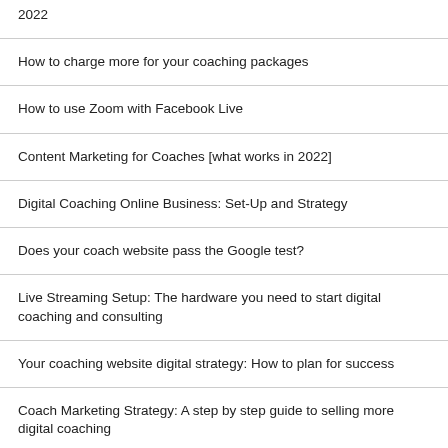2022
How to charge more for your coaching packages
How to use Zoom with Facebook Live
Content Marketing for Coaches [what works in 2022]
Digital Coaching Online Business: Set-Up and Strategy
Does your coach website pass the Google test?
Live Streaming Setup: The hardware you need to start digital coaching and consulting
Your coaching website digital strategy: How to plan for success
Coach Marketing Strategy: A step by step guide to selling more digital coaching